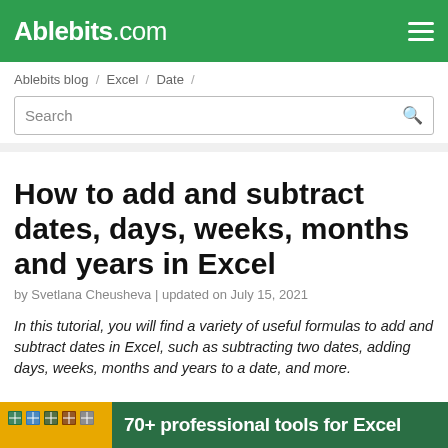Ablebits.com
Ablebits blog / Excel / Date /
How to add and subtract dates, days, weeks, months and years in Excel
by Svetlana Cheusheva | updated on July 15, 2021
In this tutorial, you will find a variety of useful formulas to add and subtract dates in Excel, such as subtracting two dates, adding days, weeks, months and years to a date, and more.
70+ professional tools for Excel